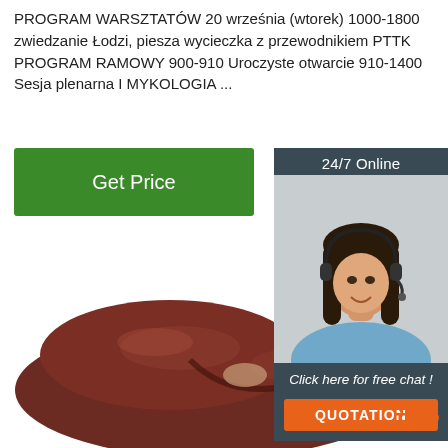PROGRAM WARSZTATÓW 20 września (wtorek) 1000-1800 zwiedzanie Łodzi, piesza wycieczka z przewodnikiem PTTK PROGRAM RAMOWY 900-910 Uroczyste otwarcie 910-1400 Sesja plenarna I MYKOLOGIA ...
[Figure (other): Green 'Get Price' button]
[Figure (other): 24/7 Online chat widget with agent photo, 'Click here for free chat!' text and orange QUOTATION button]
[Figure (photo): Raw animal liver on white background]
[Figure (logo): Orange TOP logo with dot arc above]